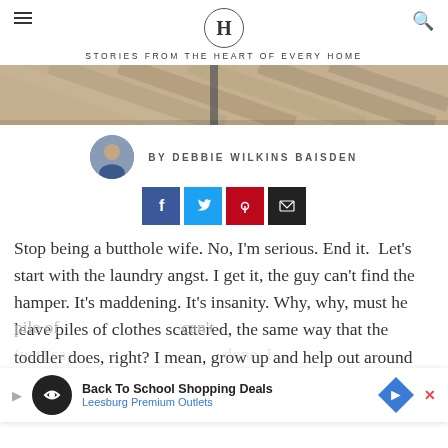H — STORIES FROM THE HEART OF EVERY HOME
[Figure (photo): Hero photo of wooden deck boards, cropped top portion]
BY DEBBIE WILKINS BAISDEN
[Figure (infographic): Social share buttons: Facebook (blue), Twitter (light blue), Pinterest (red), Email (black)]
Stop being a butthole wife. No, I'm serious. End it. Let's start with the laundry angst. I get it, the guy can't find the hamper. It's maddening. It's insanity. Why, why, must he leave piles of clothes scattered, the same way that the toddler does, right? I mean, grow up and help out around here, man. There is no laundry fairy. What if that pile of
can't (yet) sa... done, I...